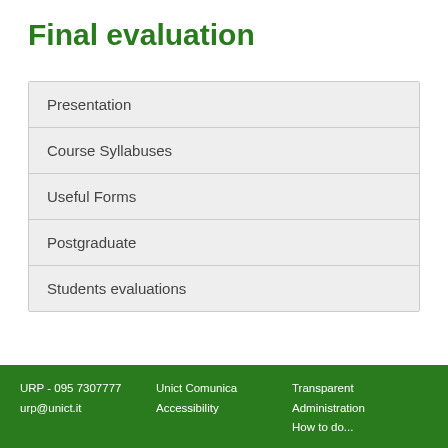Final evaluation
Presentation
Course Syllabuses
Useful Forms
Postgraduate
Students evaluations
URP - 095 7307777   urp@unict.it   Unict Comunica   Accessibility   Transparent Administration   How to do...